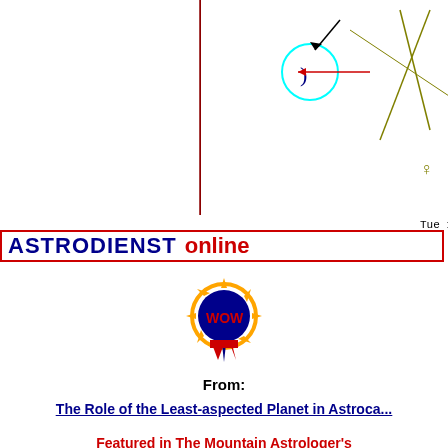[Figure (other): Astrology chart partial view showing planetary symbols including Moon in cyan circle, Mars symbol in red, Venus symbols in olive/yellow, and cross lines. Date line reads: Tue 12 Nov 1918 16:00 (ST +1:00 GMT) 16°20E]
ASTRODIENST online
[Figure (illustration): WOW award badge icon with orange sunburst, blue circle with 'wow' text in red, and red/blue ribbon streamers below]
From:
The Role of the Least-aspected Planet in Astroca...
Featured in The Mountain Astrologer's 'Hot Web Sites for Astrologers':
"Couteau shares his in-depth research in biography and location at his site. There is a